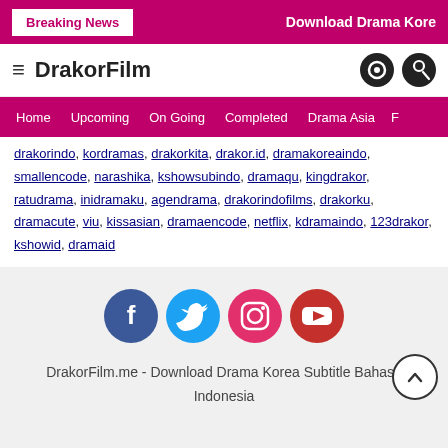Breaking News | Download Drama Kore
DrakorFilm
Home | Upcoming | On Going | Completed | Drama Asia | F...
drakorindo, kordramas, drakorkita, drakor.id, dramakoreaindo, smallencode, narashika, kshowsubindo, dramaqu, kingdrakor, ratudrama, inidramaku, agendrama, drakorindofilms, drakorku, dramacute, viu, kissasian, dramaencode, netflix, kdramaindo, 123drakor, kshowid, dramaid
[Figure (infographic): Social media icons: Facebook, Twitter, Instagram, YouTube]
DrakorFilm.me - Download Drama Korea Subtitle Bahasa Indonesia